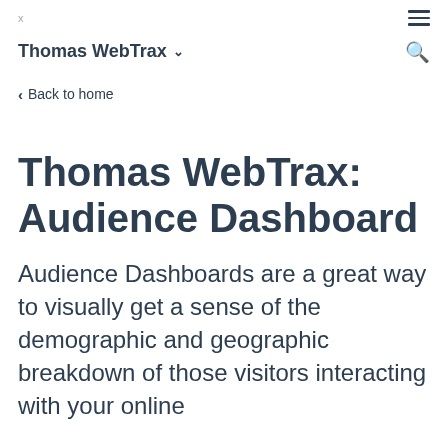Thomas WebTrax
< Back to home
Thomas WebTrax: Audience Dashboard
Audience Dashboards are a great way to visually get a sense of the demographic and geographic breakdown of those visitors interacting with your online